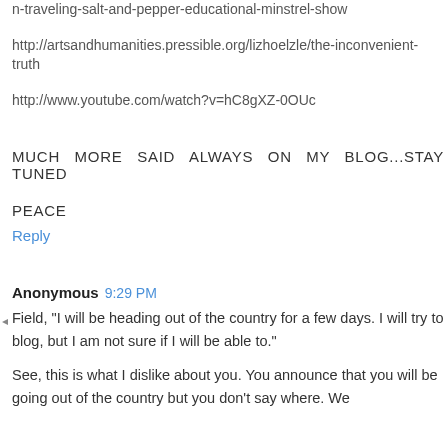n-traveling-salt-and-pepper-educational-minstrel-show
http://artsandhumanities.pressible.org/lizhoelzle/the-inconvenient-truth
http://www.youtube.com/watch?v=hC8gXZ-0OUc
MUCH MORE SAID ALWAYS ON MY BLOG...STAY TUNED
PEACE
Reply
Anonymous 9:29 PM
Field, "I will be heading out of the country for a few days. I will try to blog, but I am not sure if I will be able to."
See, this is what I dislike about you. You announce that you will be going out of the country but you don't say where. We